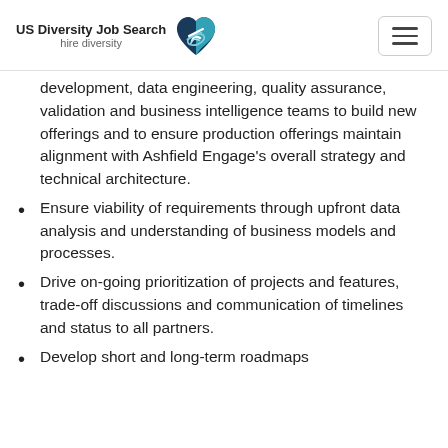US Diversity Job Search hire diversity
development, data engineering, quality assurance, validation and business intelligence teams to build new offerings and to ensure production offerings maintain alignment with Ashfield Engage's overall strategy and technical architecture.
Ensure viability of requirements through upfront data analysis and understanding of business models and processes.
Drive on-going prioritization of projects and features, trade-off discussions and communication of timelines and status to all partners.
Develop short and long-term roadmaps